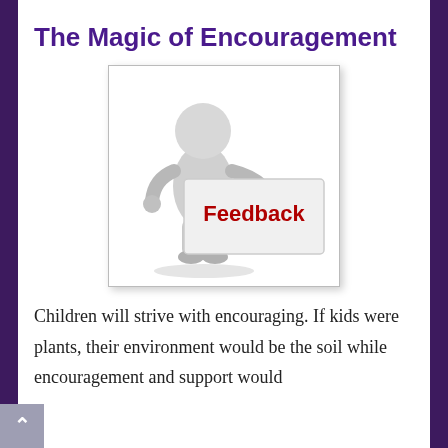The Magic of Encouragement
[Figure (illustration): A grey 3D figurine holding a white sign that reads 'Feedback' in bold red letters, with a reflection of the text below it on the sign.]
Children will strive with encouraging. If kids were plants, their environment would be the soil while encouragement and support would